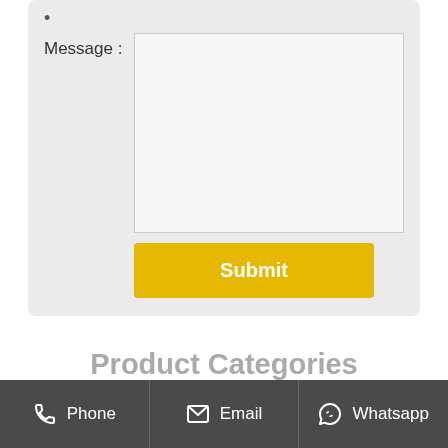* Message :
Submit
Product Categories
> Oil Pressing Machine
> Vegetable Oil Production Line (partial)
Phone  Email  Whatsapp